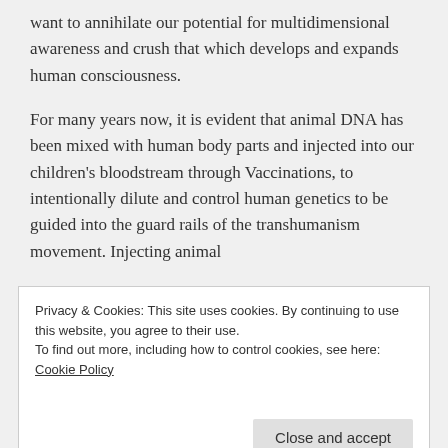want to annihilate our potential for multidimensional awareness and crush that which develops and expands human consciousness.
For many years now, it is evident that animal DNA has been mixed with human body parts and injected into our children's bloodstream through Vaccinations, to intentionally dilute and control human genetics to be guided into the guard rails of the transhumanism movement. Injecting animal
Privacy & Cookies: This site uses cookies. By continuing to use this website, you agree to their use.
To find out more, including how to control cookies, see here: Cookie Policy
machinery, which has been primed with the